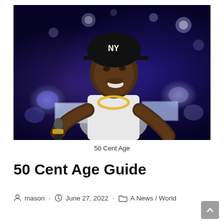[Figure (photo): 50 Cent performing on stage, wearing a white t-shirt, black NY Yankees cap, and gold chain necklace, holding a microphone, with blue stage lighting in the background.]
50 Cent Age
50 Cent Age Guide
mason · June 27, 2022 · A News / World